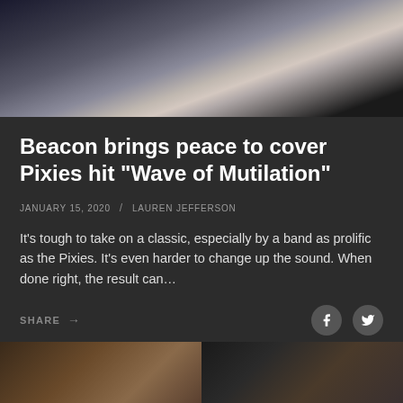[Figure (photo): Close-up dark photo of a person from neck down, dark jacket, light colored shirt/blouse underneath, dark hair visible on right side]
Beacon brings peace to cover Pixies hit “Wave of Mutilation”
JANUARY 15, 2020 / LAUREN JEFFERSON
It’s tough to take on a classic, especially by a band as prolific as the Pixies. It’s even harder to change up the sound. When done right, the result can…
SHARE →
[Figure (photo): Two partial photos at the bottom of the page — left shows a warm-toned wooden scene, right shows a dark scene with dreadlocked hair]